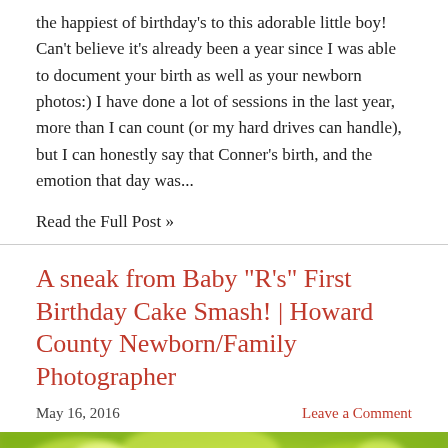the happiest of birthday's to this adorable little boy! Can't believe it's already been a year since I was able to document your birth as well as your newborn photos:) I have done a lot of sessions in the last year, more than I can count (or my hard drives can handle), but I can honestly say that Conner's birth, and the emotion that day was...
Read the Full Post »
A sneak from Baby "R's" First Birthday Cake Smash! | Howard County Newborn/Family Photographer
May 16, 2016
Leave a Comment
[Figure (photo): Blurred outdoor photo showing green leafy trees with bright sunlight filtering through, creating a bokeh effect with yellows and greens]